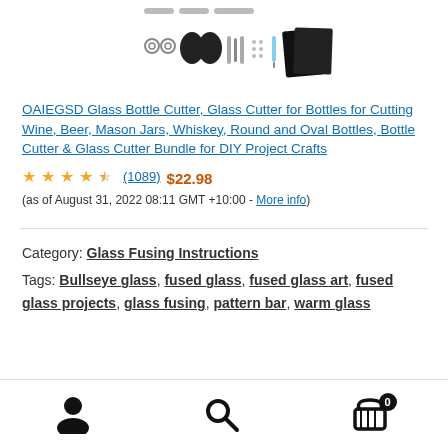[Figure (photo): Product image of a glass bottle cutter kit with accessories including gloves, tools, and black foam pieces on a white background]
OAIEGSD Glass Bottle Cutter, Glass Cutter for Bottles for Cutting Wine, Beer, Mason Jars, Whiskey, Round and Oval Bottles, Bottle Cutter & Glass Cutter Bundle for DIY Project Crafts
4.1 out of 5 stars (1089) $22.98 (as of August 31, 2022 08:11 GMT +10:00 - More info)
Category: Glass Fusing Instructions
Tags: Bullseye glass, fused glass, fused glass art, fused glass projects, glass fusing, pattern bar, warm glass
[Figure (illustration): Bottom navigation bar with user account icon, search icon, and shopping cart icon with badge showing 0]